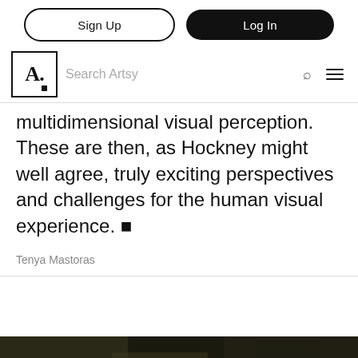Sign Up | Log In | Search Artsy
multidimensional visual perception. These are then, as Hockney might well agree, truly exciting perspectives and challenges for the human visual experience. ■
Tenya Mastoras
[Figure (photo): Dark photograph partially visible at bottom of page, appears to be a nature or outdoor scene with dark tones of green and brown.]